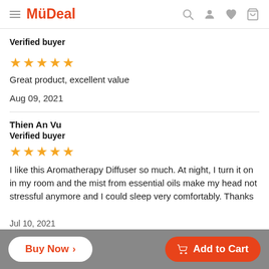MyDeal
Verified buyer
[Figure (other): 5 gold stars rating]
Great product, excellent value
Aug 09, 2021
Thien An Vu
Verified buyer
[Figure (other): 5 gold stars rating]
I like this Aromatherapy Diffuser so much. At night, I turn it on in my room and the mist from essential oils make my head not stressful anymore and I could sleep very comfortably. Thanks
Jul 10, 2021